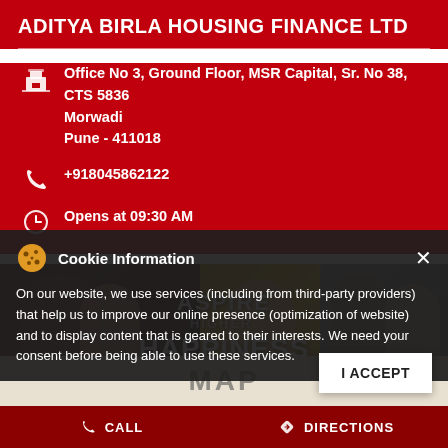ADITYA BIRLA HOUSING FINANCE LTD
Office No 3, Ground Floor, MSR Capital, Sr. No 38, CTS 5836 Morwadi
Pune - 411018
+918045862122
Opens at 09:30 AM
[Figure (photo): Promotional collage photo showing families/people with text overlay: ASPIRE HIGHER. HAPPINESS AWAITS YOU]
Cookie Information
On our website, we use services (including from third-party providers) that help us to improve our online presence (optimization of website) and to display content that is geared to their interests. We need your consent before being able to use these services.
MAP
CALL
DIRECTIONS